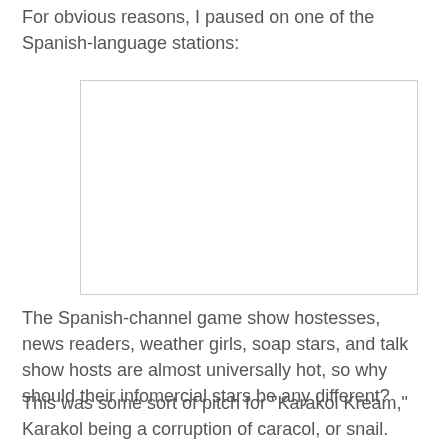For obvious reasons, I paused on one of the Spanish-language stations:
[Figure (photo): A blank white rectangular image placeholder with a light gray border]
The Spanish-channel game show hostesses, news readers, weather girls, soap stars, and talk show hosts are almost universally hot, so why should their infomercial stars be any different?
This was some sort of pitch for "Karakol Kream," Karakol being a corruption of caracol, or snail. Apparently, their previous infomercial featured a CGI snail, but I guess they